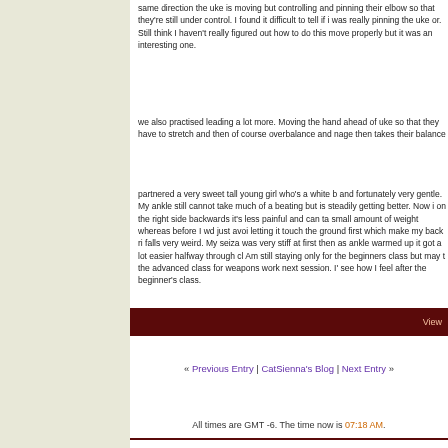same direction the uke is moving but controlling and pinning their elbow so that they're still under control. I found it difficult to tell if i was really pinning the uke or. Still think I haven't really figured out how to do this move properly but it was an interesting one.
we also practised leading a lot more. Moving the hand ahead of uke so that they have to stretch and then of course overbalance and nage then takes their balance
partnered a very sweet tall young girl who's a white b and fortunately very gentle. My ankle still cannot take much of a beating but is steadily getting better. Now i on the right side backwards it's less painful and can ta small amount of weight whereas before I wd just avoi letting it touch the ground first which make my back ri falls very weird. My seiza was very stiff at first then as ankle warmed up it got a lot easier halfway through cl Am still staying only for the beginners class but may t the advanced class for weapons work next session. I' see how I feel after the beginner's class.
View
« Previous Entry | CatSienna's Blog | Next Entry »
All times are GMT -6. The time now is 07:18 AM.